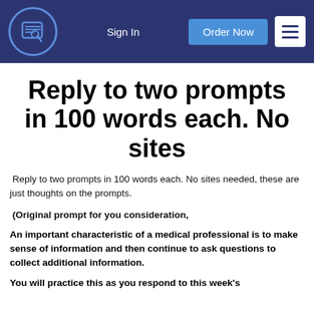Sign In | Order Now | [menu]
Reply to two prompts in 100 words each. No sites
Reply to two prompts in 100 words each. No sites needed, these are just thoughts on the prompts.
(Original prompt for you consideration,
An important characteristic of a medical professional is to make sense of information and then continue to ask questions to collect additional information.
You will practice this as you respond to this week's